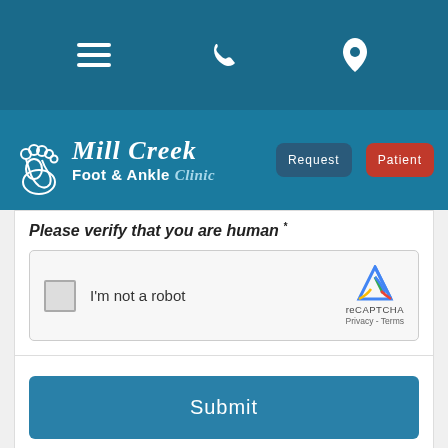[Figure (screenshot): Top navigation bar with hamburger menu, phone icon, and location pin icon on dark teal background]
[Figure (logo): Mill Creek Foot & Ankle Clinic logo with foot icon on teal background, Request and Patient buttons]
Please verify that you are human *
[Figure (other): reCAPTCHA widget with checkbox labeled I'm not a robot and reCAPTCHA branding with Privacy and Terms links]
Submit
Read Our Reviews...